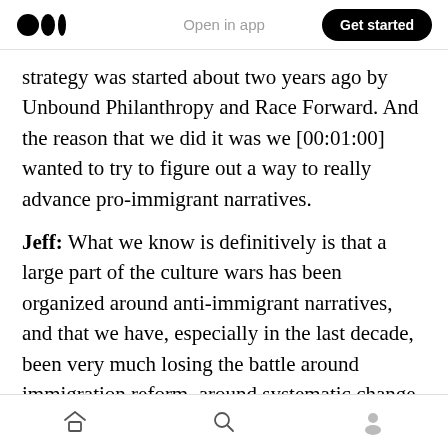Medium logo | Open in app | Get started
strategy was started about two years ago by Unbound Philanthropy and Race Forward. And the reason that we did it was we [00:01:00] wanted to try to figure out a way to really advance pro-immigrant narratives.
Jeff: What we know is definitively is that a large part of the culture wars has been organized around anti-immigrant narratives, and that we have, especially in the last decade, been very much losing the battle around immigration reform, around systematic change in
Home | Search | Profile